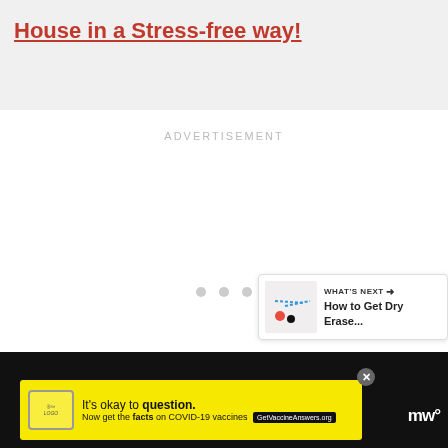House in a Stress-free way!
ADVERTISEMENT
[Figure (screenshot): White advertisement placeholder area with three loading dots in the center]
[Figure (infographic): What's Next panel with thumbnail and text: How to Get Dry Erase...]
[Figure (infographic): COVID-19 vaccine advertisement banner: It's okay to question. Now get the facts on COVID-19 vaccines. GetVaccineAnswers.org]